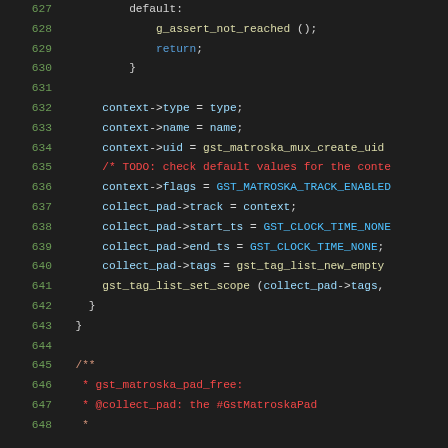Source code listing, lines 627-648, C language
627     default:
628         g_assert_not_reached ();
629         return;
630     }
631
632     context->type = type;
633     context->name = name;
634     context->uid = gst_matroska_mux_create_uid
635     /* TODO: check default values for the conte
636     context->flags = GST_MATROSKA_TRACK_ENABLED
637     collect_pad->track = context;
638     collect_pad->start_ts = GST_CLOCK_TIME_NONE
639     collect_pad->end_ts = GST_CLOCK_TIME_NONE;
640     collect_pad->tags = gst_tag_list_new_empty
641     gst_tag_list_set_scope (collect_pad->tags,
642   }
643 }
644
645 /**
646  * gst_matroska_pad_free:
647  * @collect_pad: the #GstMatroskaPad
648  *